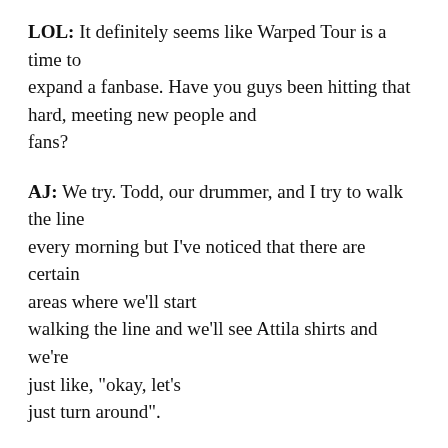LOL: It definitely seems like Warped Tour is a time to expand a fanbase. Have you guys been hitting that hard, meeting new people and fans?
AJ: We try. Todd, our drummer, and I try to walk the line every morning but I've noticed that there are certain areas where we'll start walking the line and we'll see Attila shirts and we're just like, "okay, let's just turn around".
LOL: Has your first run on Warped Tour met your expectations in terms of the grind? NW: I mean, it's hard. It's definitely the most grueling